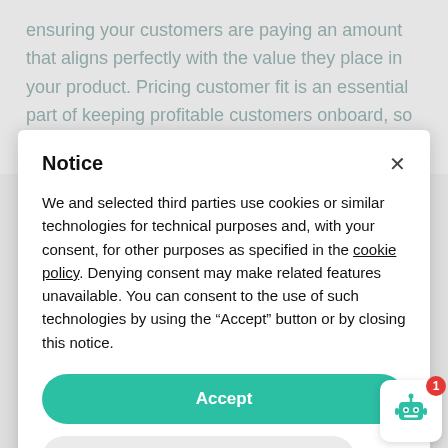ensuring your customers are paying an amount that aligns perfectly with the value they place in your product. Pricing customer fit is an essential part of keeping profitable customers onboard, so let's take a look at how we can use our
Notice
We and selected third parties use cookies or similar technologies for technical purposes and, with your consent, for other purposes as specified in the cookie policy. Denying consent may make related features unavailable. You can consent to the use of such technologies by using the “Accept” button or by closing this notice.
Accept
Learn more and customize